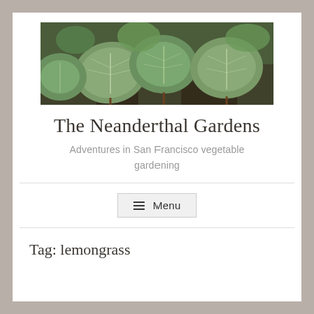[Figure (photo): Close-up photograph of green leafy vegetable plants (bok choy or similar brassica) growing in a garden, showing round pale green leaves with white veins and stems, on a dark mulch background.]
The Neanderthal Gardens
Adventures in San Francisco vegetable gardening
≡ Menu
Tag: lemongrass